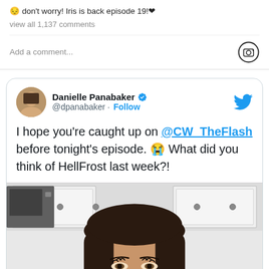😔 don't worry! Iris is back episode 19!❤
view all 1,137 comments
Add a comment...
Danielle Panabaker @dpanabaker · Follow
I hope you're caught up on @CW_TheFlash before tonight's episode. 😭 What did you think of HellFrost last week?!
[Figure (photo): Selfie photo of a woman with dark hair in a kitchen setting, taken from below eye level. White kitchen cabinets visible in background.]